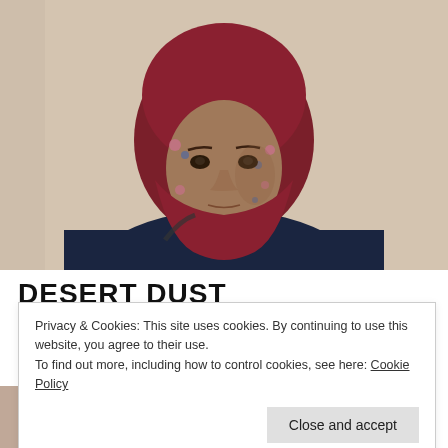[Figure (photo): Portrait photograph of a middle-aged woman wearing a dark red/maroon hijab with floral pattern in pink and blue, against a light beige/cream wall background. She is wearing a dark navy top.]
DESERT DUST
Privacy & Cookies: This site uses cookies. By continuing to use this website, you agree to their use.
To find out more, including how to control cookies, see here: Cookie Policy
Close and accept
[Figure (photo): Partial view of another portrait photo at bottom of page, showing top of a person's head with dark hair.]